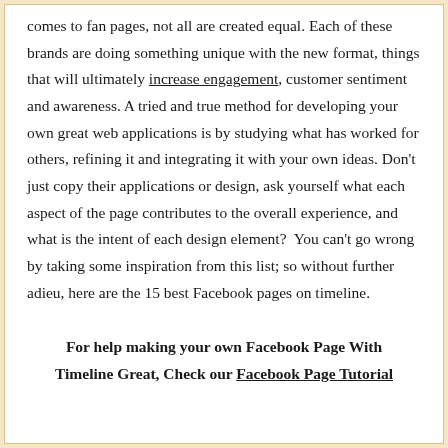comes to fan pages, not all are created equal. Each of these brands are doing something unique with the new format, things that will ultimately increase engagement, customer sentiment and awareness. A tried and true method for developing your own great web applications is by studying what has worked for others, refining it and integrating it with your own ideas. Don't just copy their applications or design, ask yourself what each aspect of the page contributes to the overall experience, and what is the intent of each design element?  You can't go wrong by taking some inspiration from this list; so without further adieu, here are the 15 best Facebook pages on timeline.
For help making your own Facebook Page With Timeline Great, Check our Facebook Page Tutorial